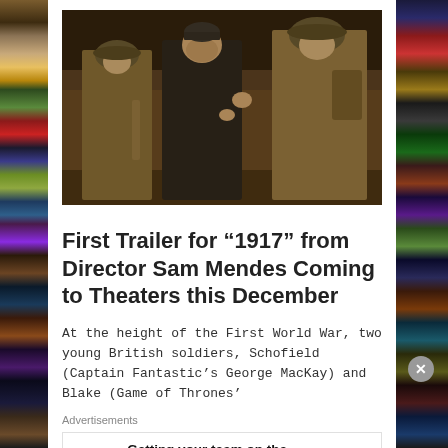[Figure (photo): Film set scene from 1917 showing soldiers in WWI uniforms with a director gesturing between them in a trench-like setting]
First Trailer for “1917” from Director Sam Mendes Coming to Theaters this December
At the height of the First World War, two young British soldiers, Schofield (Captain Fantastic’s George MacKay) and Blake (Game of Thrones’ Dean-Charles Chapman) are given a seemingly impossible mission:
Advertisements
Getting your team on the same page is easy. And free.